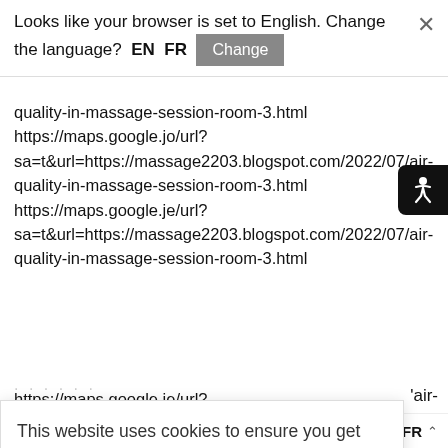Looks like your browser is set to English. Change the language?  EN  FR  Change  ×
quality-in-massage-session-room-3.html https://maps.google.jo/url? sa=t&url=https://massage2203.blogspot.com/2022/07/air-quality-in-massage-session-room-3.html https://maps.google.je/url? sa=t&url=https://massage2203.blogspot.com/2022/07/air-quality-in-massage-session-room-3.html
'air-
This website uses cookies to ensure you get the best experience on our website.
Learn More
Got it!
'air-
'air-
https://maps.google.je/url?
FR